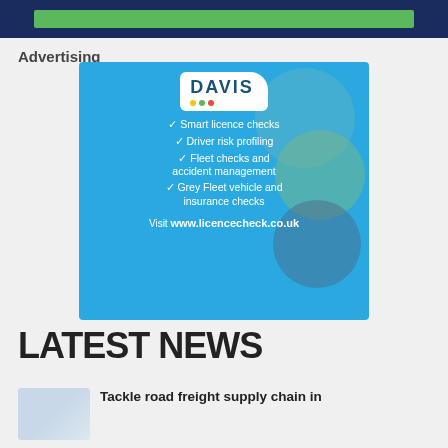[Figure (other): Top dark blue banner with green button/bar]
Advertising
[Figure (illustration): Davis advertisement on blue background featuring logo, checkmark bullet points: Smart licence checks, Driver risk profiling, Fleet checks and accident management, Grey Fleet vehicle and insurance checks, and Visit www.licencecheck.co.uk]
LATEST NEWS
[Figure (photo): Small thumbnail photo of road/freight scene]
Tackle road freight supply chain in